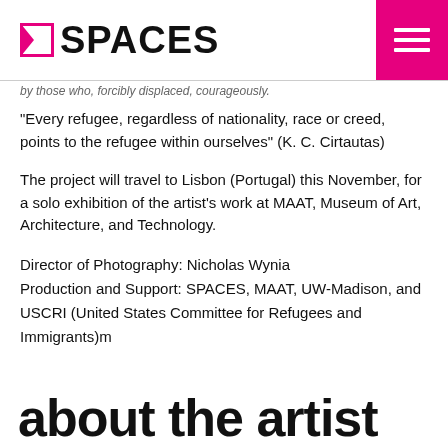SPACES
by those who, forcibly displaced, courageously.
"Every refugee, regardless of nationality, race or creed, points to the refugee within ourselves" (K. C. Cirtautas)
The project will travel to Lisbon (Portugal) this November, for a solo exhibition of the artist's work at MAAT, Museum of Art, Architecture, and Technology.
Director of Photography: Nicholas Wynia
Production and Support: SPACES, MAAT, UW-Madison, and USCRI (United States Committee for Refugees and Immigrants)m
about the artist